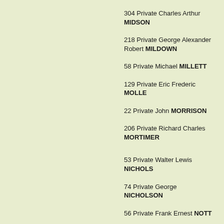304 Private Charles Arthur MIDSON
218 Private George Alexander Robert MILDOWN
58 Private Michael MILLETT
129 Private Eric Frederic MOLLE
22 Private John MORRISON
206 Private Richard Charles MORTIMER
53 Private Walter Lewis NICHOLS
74 Private George NICHOLSON
56 Private Frank Ernest NOTT
59 Private Walter Richard NOWLAND